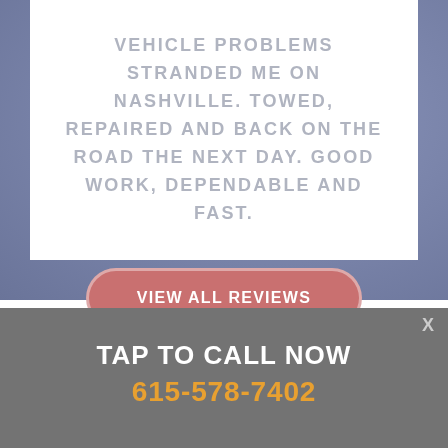VEHICLE PROBLEMS STRANDED ME ON NASHVILLE. TOWED, REPAIRED AND BACK ON THE ROAD THE NEXT DAY. GOOD WORK, DEPENDABLE AND FAST.
VIEW ALL REVIEWS
X
TAP TO CALL NOW
615-578-7402